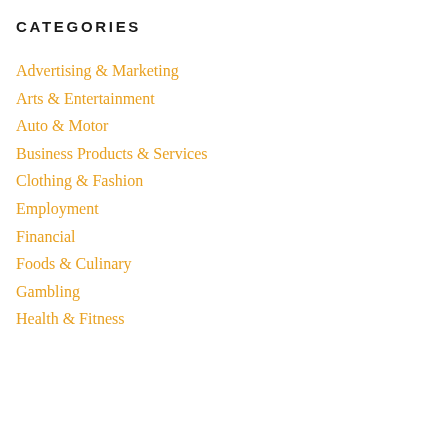CATEGORIES
Advertising & Marketing
Arts & Entertainment
Auto & Motor
Business Products & Services
Clothing & Fashion
Employment
Financial
Foods & Culinary
Gambling
Health & Fitness